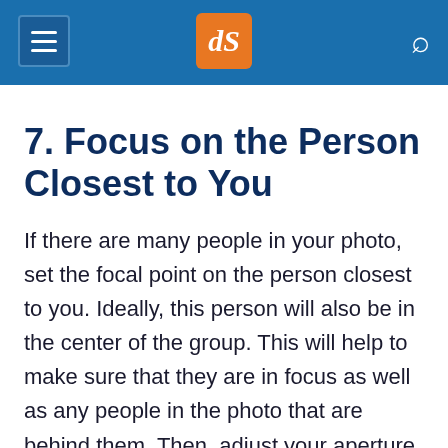dPS
7. Focus on the Person Closest to You
If there are many people in your photo, set the focal point on the person closest to you. Ideally, this person will also be in the center of the group. This will help to make sure that they are in focus as well as any people in the photo that are behind them. Then, adjust your aperture to